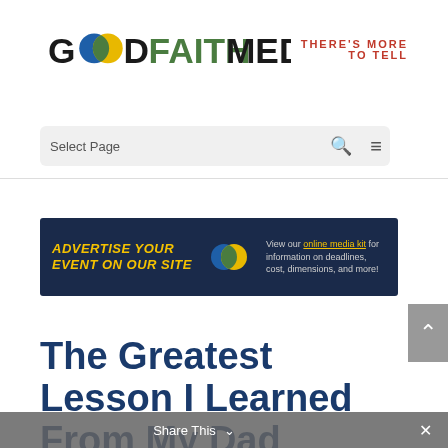[Figure (logo): Good Faith Media logo with overlapping blue and yellow circles forming a green overlap in the 'O', green FAITH text, black GOOD and MEDIA text, red italic tagline THERE'S MORE TO TELL]
Select Page
[Figure (infographic): Dark navy advertisement banner: 'ADVERTISE YOUR EVENT ON ON OUR SITE' in yellow italic bold text on left, GFM logo circle in middle, and text on right reading 'View our online media kit for information on deadlines, cost, dimensions, and more!']
The Greatest Lesson I Learned From My Dad
Share This